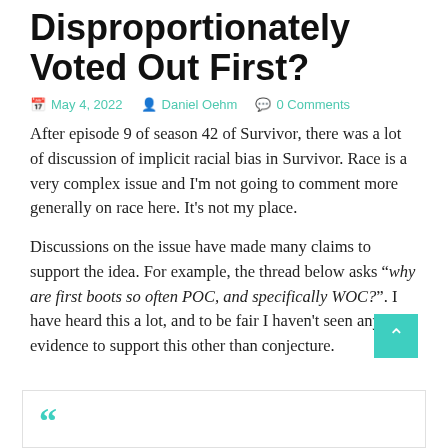Disproportionately Voted Out First?
May 4, 2022  Daniel Oehm  0 Comments
After episode 9 of season 42 of Survivor, there was a lot of discussion of implicit racial bias in Survivor. Race is a very complex issue and I'm not going to comment more generally on race here. It's not my place.
Discussions on the issue have made many claims to support the idea. For example, the thread below asks “why are first boots so often POC, and specifically WOC?”. I have heard this a lot, and to be fair I haven't seen any evidence to support this other than conjecture.